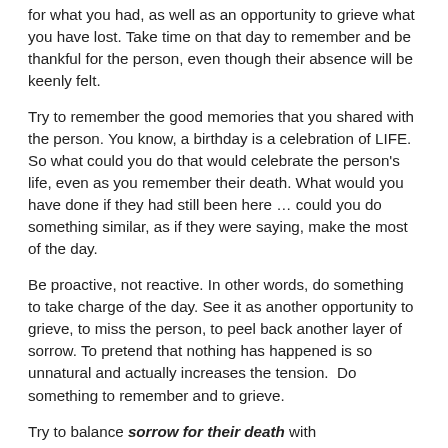for what you had, as well as an opportunity to grieve what you have lost. Take time on that day to remember and be thankful for the person, even though their absence will be keenly felt.
Try to remember the good memories that you shared with the person. You know, a birthday is a celebration of LIFE. So what could you do that would celebrate the person's life, even as you remember their death. What would you have done if they had still been here … could you do something similar, as if they were saying, make the most of the day.
Be proactive, not reactive. In other words, do something to take charge of the day. See it as another opportunity to grieve, to miss the person, to peel back another layer of sorrow. To pretend that nothing has happened is so unnatural and actually increases the tension.  Do something to remember and to grieve.
Try to balance sorrow for their death with